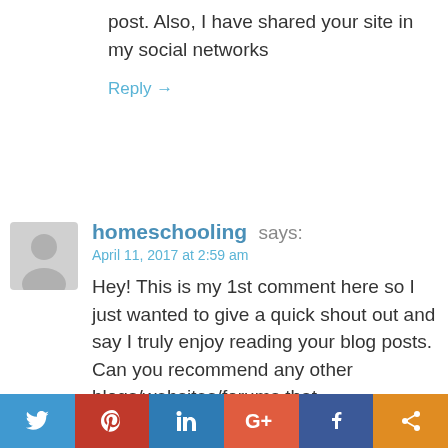post. Also, I have shared your site in my social networks
Reply →
homeschooling says:
April 11, 2017 at 2:59 am
Hey! This is my 1st comment here so I just wanted to give a quick shout out and say I truly enjoy reading your blog posts. Can you recommend any other blogs/websites/forums that deal with the same subjects?